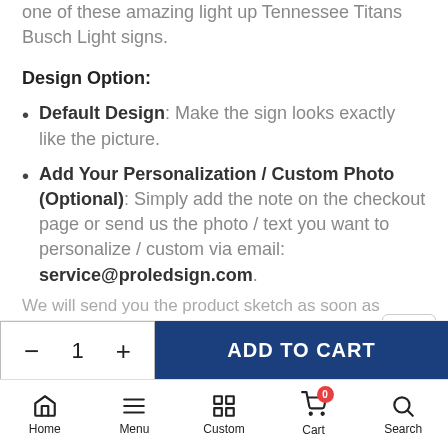one of these amazing light up Tennessee Titans Busch Light signs.
Design Option:
Default Design: Make the sign looks exactly like the picture.
Add Your Personalization / Custom Photo (Optional): Simply add the note on the checkout page or send us the photo / text you want to personalize / custom via email: service@proledsign.com.
We will send you the product sketch as soon as
1
ADD TO CART
Home  Menu  Custom  Cart  Search